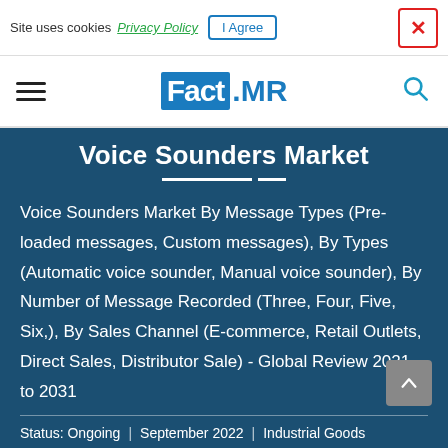Site uses cookies  Privacy Policy  I Agree  ×
[Figure (logo): Fact.MR logo with blue background on 'Fact' and blue text '.MR']
Voice Sounders Market
Voice Sounders Market By Message Types (Pre-loaded messages, Custom messages), By Types (Automatic voice sounder, Manual voice sounder), By Number of Message Recorded (Three, Four, Five, Six,), By Sales Channel (E-commerce, Retail Outlets, Direct Sales, Distributor Sale) - Global Review 2021 to 2031
Status: Ongoing  |  September 2022  |  Industrial Goods